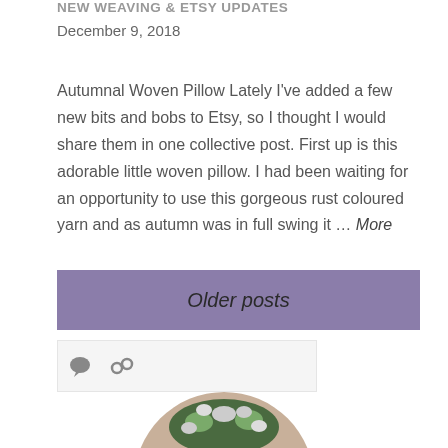NEW WEAVING & ETSY UPDATES
December 9, 2018
Autumnal Woven Pillow Lately I've added a few new bits and bobs to Etsy, so I thought I would share them in one collective post. First up is this adorable little woven pillow. I had been waiting for an opportunity to use this gorgeous rust coloured yarn and as autumn was in full swing it … More
[Figure (other): Older posts navigation button with purple/mauve background]
[Figure (photo): Circular cropped photo of a person wearing a floral wreath/crown, partially visible at bottom of page]